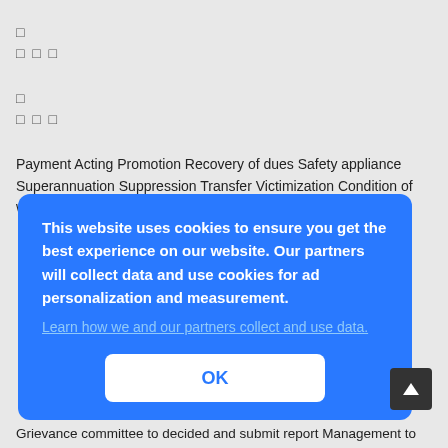□
□ □ □
□
□ □ □
Payment Acting Promotion Recovery of dues Safety appliance Superannuation Suppression Transfer Victimization Condition of work
[Figure (screenshot): Cookie consent overlay on blue background with text: This website uses cookies to ensure you get the best experience on our website. Our partners will collect data and use cookies for ad personalization and measurement. Learn how we and our partners collect and use data. OK button.]
Grievance committee to decided and submit report Management to